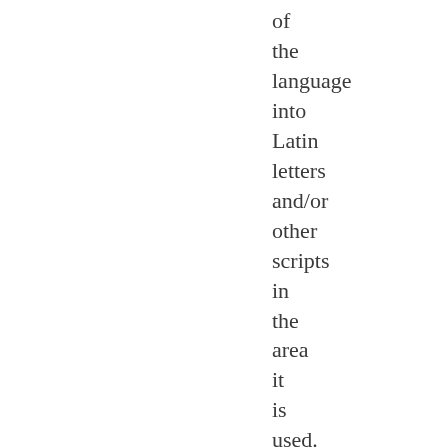of the language into Latin letters and/or other scripts in the area it is used. Are any letters considered